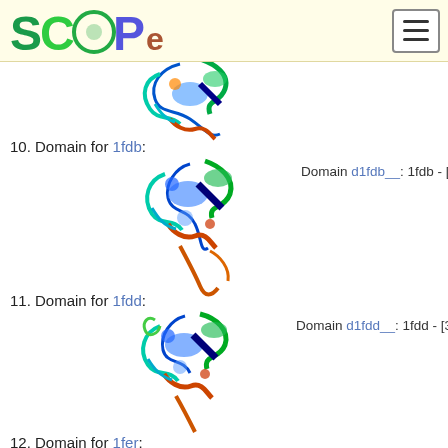SCOPe logo and navigation
[Figure (illustration): 3D protein structure ribbon diagram for 1fdb, rainbow colored]
10. Domain for 1fdb:
Domain d1fdb__: 1fdb - [38970]
[Figure (illustration): 3D protein structure ribbon diagram for 1fdd, rainbow colored]
11. Domain for 1fdd:
Domain d1fdd__: 1fdd - [38960]
[Figure (illustration): 3D protein structure ribbon diagram for 1fer, rainbow colored]
12. Domain for 1fer:
Domain d1fer__: 1fer - [38952]